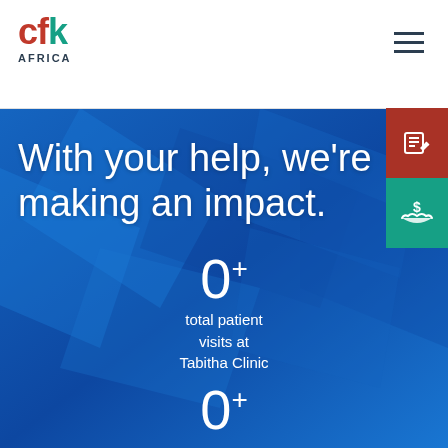CFK Africa
With your help, we're making an impact.
0+
total patient visits at Tabitha Clinic
0+